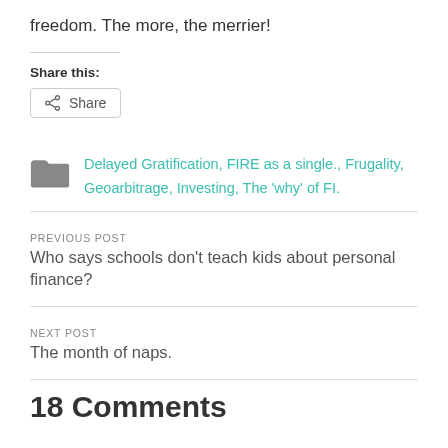freedom. The more, the merrier!
Share this:
Share
Delayed Gratification, FIRE as a single., Frugality, Geoarbitrage, Investing, The 'why' of FI.
PREVIOUS POST
Who says schools don't teach kids about personal finance?
NEXT POST
The month of naps.
18 Comments